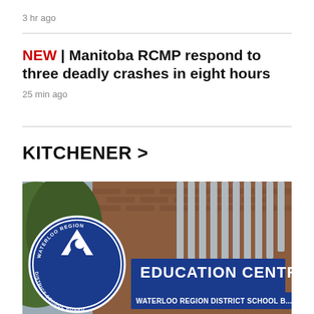3 hr ago
NEW | Manitoba RCMP respond to three deadly crashes in eight hours
25 min ago
KITCHENER >
[Figure (photo): Photo of Waterloo Region District School Board Education Centre building exterior with large blue sign reading 'EDUCATION CENTRE' and 'WATERLOO REGION DISTRICT SCHOOL BOARD', and a circular blue logo on the left.]